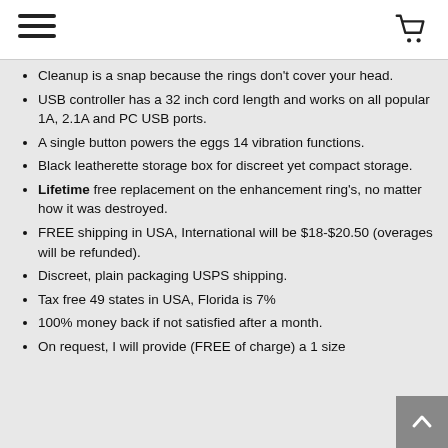[hamburger menu icon] [shopping cart icon]
Cleanup is a snap because the rings don't cover your head.
USB controller has a 32 inch cord length and works on all popular 1A, 2.1A and PC USB ports.
A single button powers the eggs 14 vibration functions.
Black leatherette storage box for discreet yet compact storage.
Lifetime free replacement on the enhancement ring's, no matter how it was destroyed.
FREE shipping in USA, International will be $18-$20.50 (overages will be refunded).
Discreet, plain packaging USPS shipping.
Tax free 49 states in USA, Florida is 7%
100% money back if not satisfied after a month.
On request, I will provide (FREE of charge) a 1 size